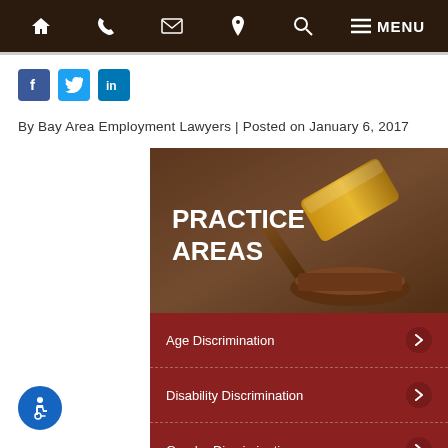Navigation bar with home, phone, email, location, search, menu icons
[Figure (screenshot): Social media icons: Facebook, Twitter, LinkedIn]
By Bay Area Employment Lawyers | Posted on January 6, 2017
[Figure (infographic): Practice Areas graphic with gavel image and list: Age Discrimination, Disability Discrimination, Gender Discrimination, Whistleblower, Race Discrimination]